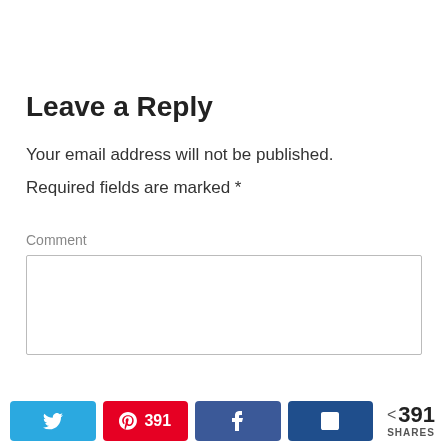Leave a Reply
Your email address will not be published.
Required fields are marked *
Comment
[Figure (screenshot): Comment text input box, empty, with light gray border]
Twitter share button | Pinterest 391 share button | Facebook share button | LinkedIn share button | < 391 SHARES